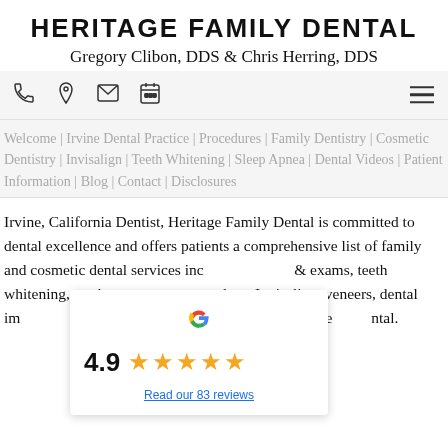HERITAGE FAMILY DENTAL
Gregory Clibon, DDS & Chris Herring, DDS
[Figure (screenshot): Navigation bar with phone, location, email, and calendar icons, plus hamburger menu]
Welcome | Irvine Dental Practice | Procedures | Family Dentistry | Cosmetic Dentistry | Invisalign | Teeth Whitening | Sleep Apnea | Dental Videos | Patient Information | Blog | Contact | Disclosures
Irvine, California Dentist, Heritage Family Dental is committed to dental excellence and offers patients a comprehensive list of family and cosmetic dental services including cleanings & exams, teeth whitening, tooth colored fillings, crowns, bridges, Invisalign, veneers, dental implants, and more. Please come and visit Irvine, CA dentist Heritage Family Dental.
[Figure (other): Google review widget showing 4.9 rating with 5 stars and link to Read our 83 reviews]